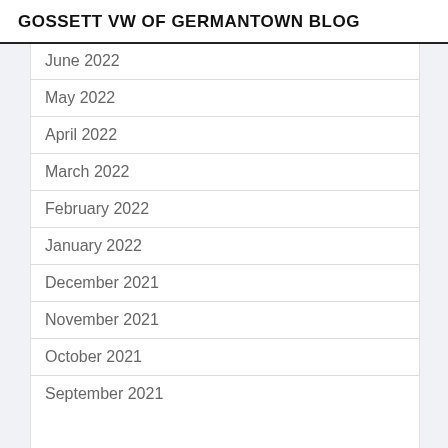GOSSETT VW OF GERMANTOWN BLOG
June 2022
May 2022
April 2022
March 2022
February 2022
January 2022
December 2021
November 2021
October 2021
September 2021